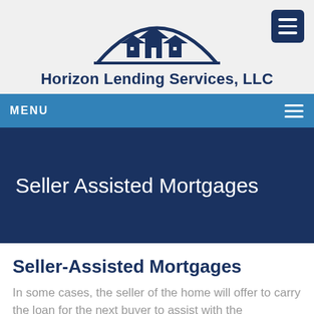[Figure (logo): Horizon Lending Services LLC logo with stylized house silhouettes under a semicircular arch representing a horizon, in dark navy blue]
Horizon Lending Services, LLC
MENU
Seller Assisted Mortgages
Seller-Assisted Mortgages
In some cases, the seller of the home will offer to carry the loan for the next buyer to assist with the